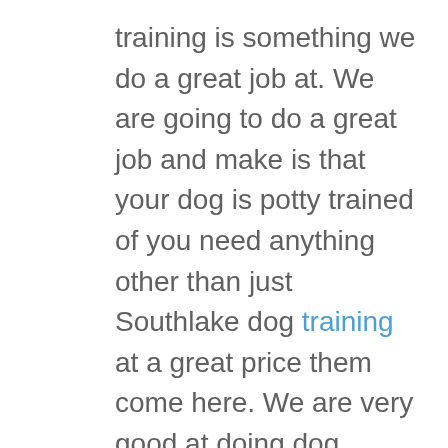training is something we do a great job at. We are going to do a great job and make is that your dog is potty trained of you need anything other than just Southlake dog training at a great price them come here. We are very good at doing dog training. If you want to get dog training this is where you want to come to. We are going to give you a satisfaction guarantee call for pricing we can price it offer breed. The pricing is going to be based off of breed
Whenever you need pricing available on can of dog training that we can help you